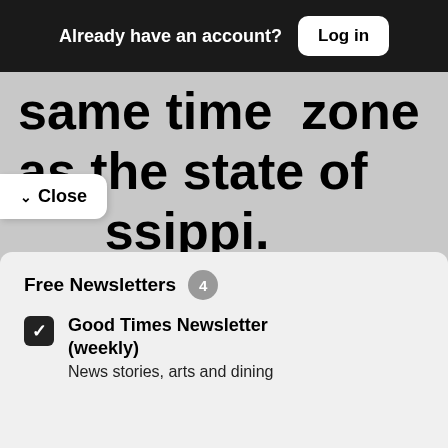Already have an account? Log in
same time zone as the state of Mississippi.
Close
Welcome to our community
Sign in or register for email updates and this box won't appear again. We're grateful for your support.
By registering you confirm you are 21+.
Free Newsletters 4
Good Times Newsletter (weekly)
News stories, arts and dining